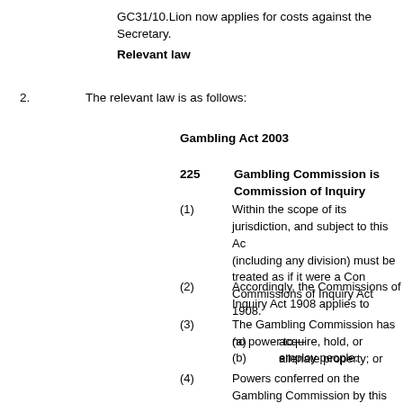GC31/10.Lion now applies for costs against the Secretary.
Relevant law
2.	The relevant law is as follows:
Gambling Act 2003
225	Gambling Commission is Commission of Inquiry
(1)	Within the scope of its jurisdiction, and subject to this Act, the Commission (including any division) must be treated as if it were a Commission under the Commissions of Inquiry Act 1908.
(2)	Accordingly, the Commissions of Inquiry Act 1908 applies to
(3)	The Gambling Commission has no power to—
(a)	acquire, hold, or alienate property; or
(b)	employ people.
(4)	Powers conferred on the Gambling Commission by this subsection are conferred on the Gambling Commission by the applicable Commissions of Inquiry Act 1908.